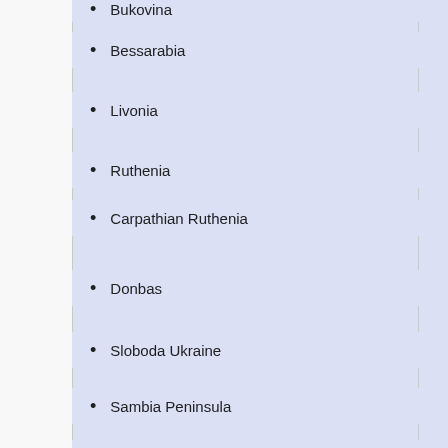Bukovina
Bessarabia
Livonia
Ruthenia
Carpathian Ruthenia
Donbas
Sloboda Ukraine
Sambia Peninsula
Amber Coast
Curonian Spit
Izyum Trail
Lithuania Minor
Nemunas Delta
Baltic
Baltic Sea
Vyborg Bay
Karelia
East Karelia